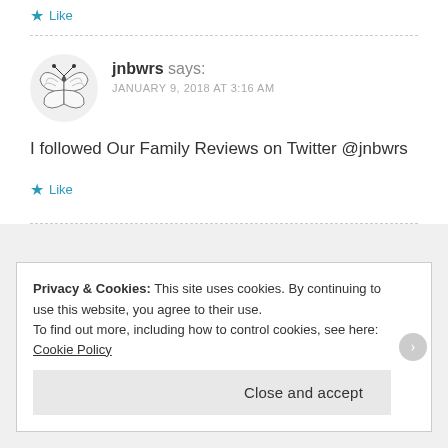Like
jnbwrs says: JANUARY 9, 2018 AT 3:16 AM
I followed Our Family Reviews on Twitter @jnbwrs
Like
Privacy & Cookies: This site uses cookies. By continuing to use this website, you agree to their use. To find out more, including how to control cookies, see here: Cookie Policy
Close and accept